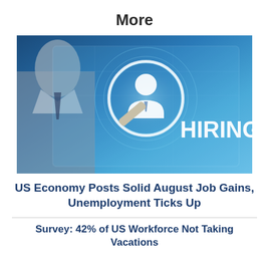More
[Figure (photo): A hand holding a rectangular card pointing at a digital translucent screen displaying a person icon in a magnifying glass circle, with the word HIRING in large bold white text on a blue-toned background.]
US Economy Posts Solid August Job Gains, Unemployment Ticks Up
Survey: 42% of US Workforce Not Taking Vacations